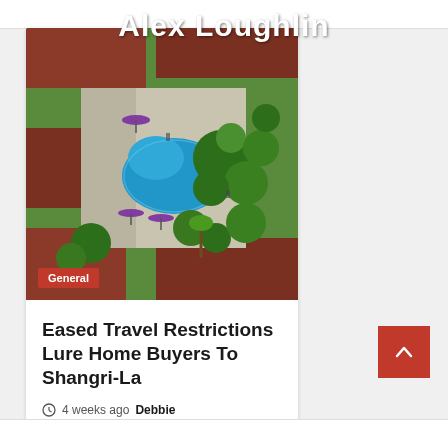Alex Loughlin
[Figure (photo): Aerial view of a resort with a kidney-shaped swimming pool surrounded by red-roofed buildings and lush green trees. Purple umbrellas are visible near the pool.]
General
Eased Travel Restrictions Lure Home Buyers To Shangri-La
4 weeks ago  Debbie